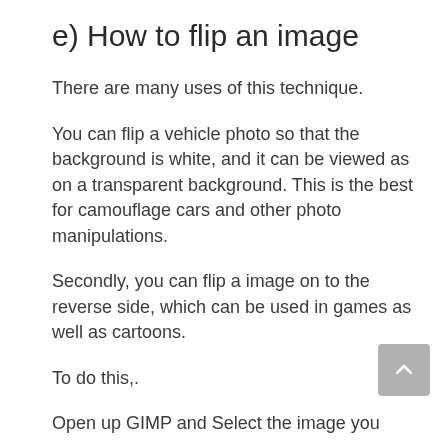e) How to flip an image
There are many uses of this technique.
You can flip a vehicle photo so that the background is white, and it can be viewed as on a transparent background. This is the best for camouflage cars and other photo manipulations.
Secondly, you can flip a image on to the reverse side, which can be used in games as well as cartoons.
To do this,.
Open up GIMP and Select the image you